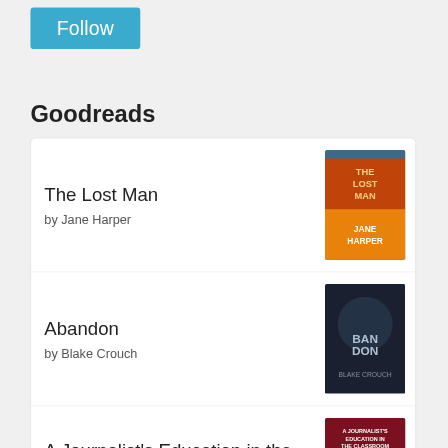Follow
Goodreads
The Lost Man
by Jane Harper
Abandon
by Blake Crouch
A Journalist's Education in the Classroom
by David Awbrey
Who Is Maud Dixon?
by Alexandra Andrews